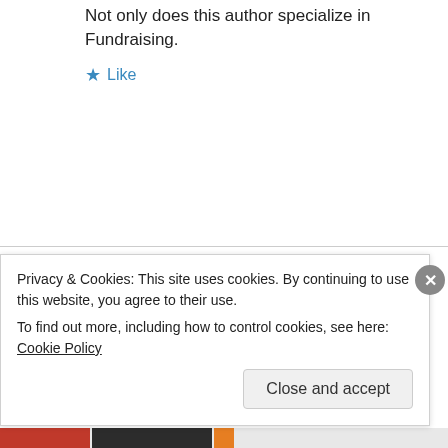Not only does this author specialize in Fundraising.
★ Like
what are the best over the counter diet pills on August 6, 2014 at 3:46 pm
Doing research can go about achieving top rated
Privacy & Cookies: This site uses cookies. By continuing to use this website, you agree to their use.
To find out more, including how to control cookies, see here: Cookie Policy
Close and accept